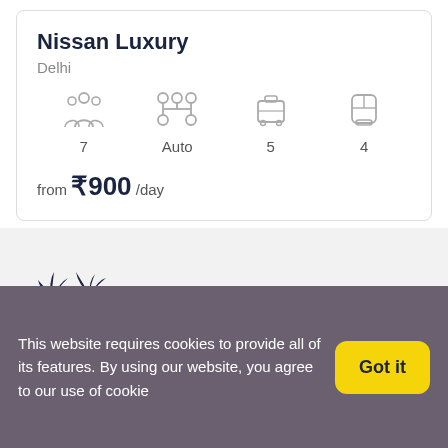Nissan Luxury
Delhi
[Figure (infographic): Car specs icons row: passengers (7), transmission (Auto), luggage (5), seats (4)]
from ₹900 /day
[Figure (illustration): Palm trees on island illustration]
Get Updates & More
Thoughtful thoughts to your inbox
This website requires cookies to provide all of its features. By using our website, you agree to our use of cookie
Got it